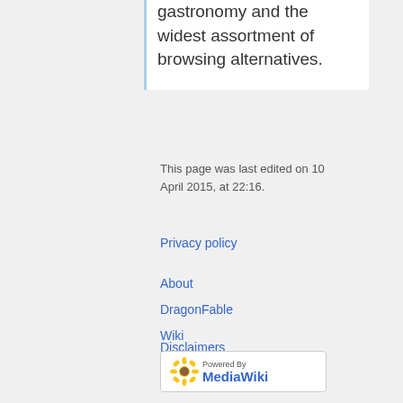gastronomy and the widest assortment of browsing alternatives.
This page was last edited on 10 April 2015, at 22:16.
Privacy policy
About DragonFable Wiki
Disclaimers
[Figure (logo): Powered by MediaWiki badge with sunflower icon]